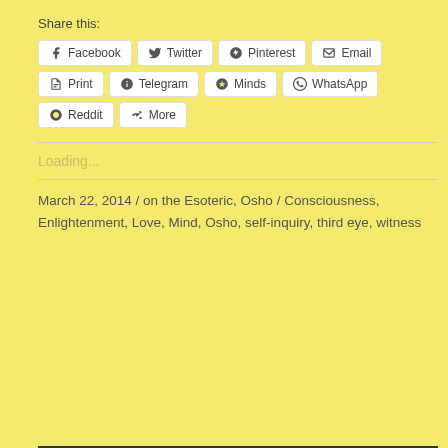Share this:
[Figure (screenshot): Social share buttons: Facebook, Twitter, Pinterest, Email, Print, Telegram, Minds, WhatsApp, Reddit, More]
Loading...
March 22, 2014 / on the Esoteric, Osho / Consciousness, Enlightenment, Love, Mind, Osho, self-inquiry, third eye, witness